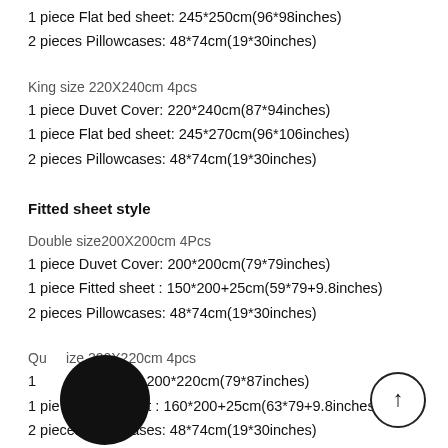1 piece Flat bed sheet: 245*250cm(96*98inches)
2 pieces Pillowcases: 48*74cm(19*30inches)
King size 220X240cm 4pcs
1 piece Duvet Cover: 220*240cm(87*94inches)
1 piece Flat bed sheet: 245*270cm(96*106inches)
2 pieces Pillowcases: 48*74cm(19*30inches)
Fitted sheet style
Double size200X200cm 4Pcs
1 piece Duvet Cover: 200*200cm(79*79inches)
1 piece Fitted sheet : 150*200+25cm(59*79+9.8inches)
2 pieces Pillowcases: 48*74cm(19*30inches)
Queen size 200X220cm 4pcs
1 piece Duvet Cover: 200*220cm(79*87inches)
1 piece Fitted sheet : 160*200+25cm(63*79+9.8inches)
2 pieces Pillowcases: 48*74cm(19*30inches)